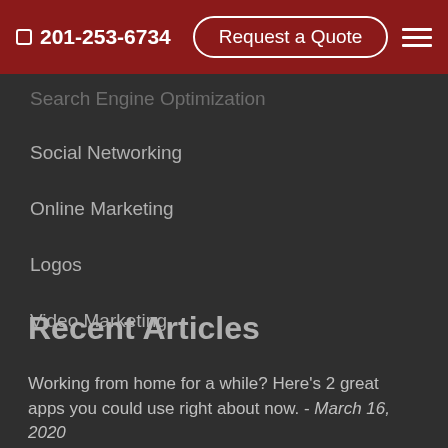201-253-6734  Request a Quote
Search Engine Optimization
Social Networking
Online Marketing
Logos
Video Marketing
Recent Articles
Working from home for a while? Here's 2 great apps you could use right about now. - March 16, 2020
4 Best Practices For Selecting Colors & Fonts to Fit Your Brand - September 6, 2019
Here's What People Say they Think About Your Customers...